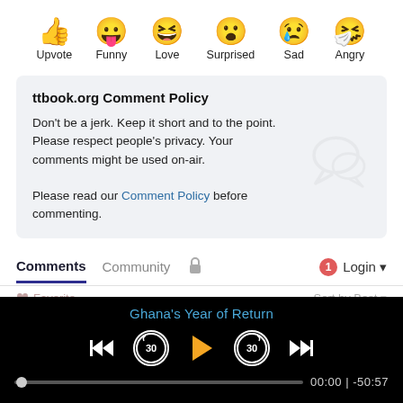[Figure (infographic): Six emoji reaction buttons: Upvote (thumbs up), Funny (tongue out), Love (laughing), Surprised (open mouth), Sad (crying), Angry (masked/angry face), each with label below]
ttbook.org Comment Policy

Don't be a jerk. Keep it short and to the point. Please respect people's privacy. Your comments might be used on-air.

Please read our Comment Policy before commenting.
Comments  Community  🔒  1  Login
Ghana's Year of Return  00:00 | -50:57